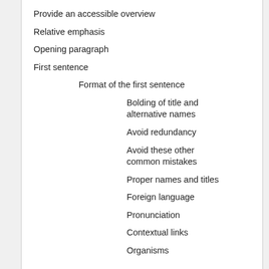Provide an accessible overview
Relative emphasis
Opening paragraph
First sentence
Format of the first sentence
Bolding of title and alternative names
Avoid redundancy
Avoid these other common mistakes
Proper names and titles
Foreign language
Pronunciation
Contextual links
Organisms